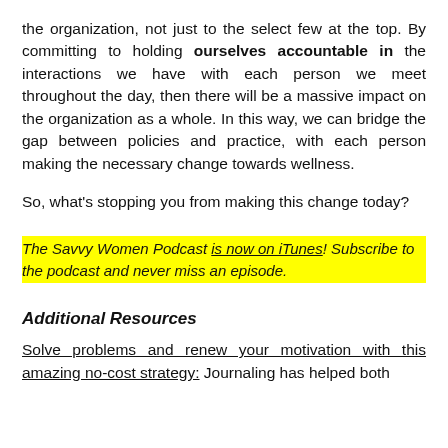the organization, not just to the select few at the top. By committing to holding ourselves accountable in the interactions we have with each person we meet throughout the day, then there will be a massive impact on the organization as a whole. In this way, we can bridge the gap between policies and practice, with each person making the necessary change towards wellness.
So, what’s stopping you from making this change today?
The Savvy Women Podcast is now on iTunes! Subscribe to the podcast and never miss an episode.
Additional Resources
Solve problems and renew your motivation with this amazing no-cost strategy: Journaling has helped both